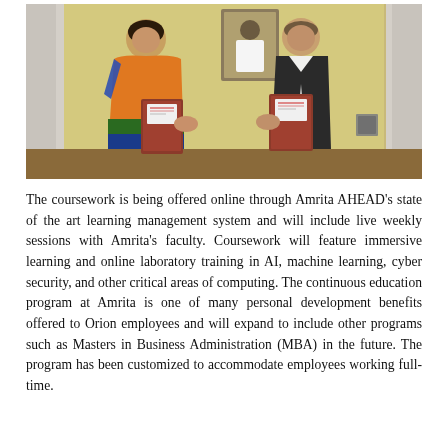[Figure (photo): Two people exchanging signed documents or MOU folders — a woman in a colorful traditional Indian saree on the left and a man in a dark blazer on the right, standing in an office setting with a framed portrait on the wall behind them.]
The coursework is being offered online through Amrita AHEAD's state of the art learning management system and will include live weekly sessions with Amrita's faculty. Coursework will feature immersive learning and online laboratory training in AI, machine learning, cyber security, and other critical areas of computing. The continuous education program at Amrita is one of many personal development benefits offered to Orion employees and will expand to include other programs such as Masters in Business Administration (MBA) in the future. The program has been customized to accommodate employees working full-time.